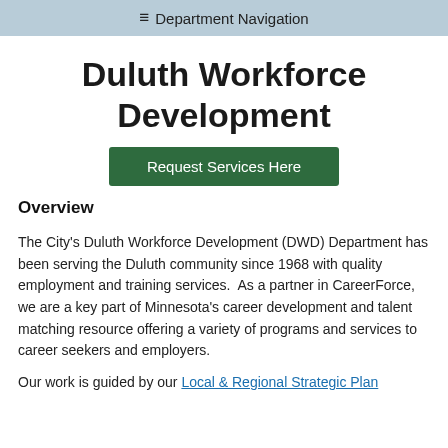☰ Department Navigation
Duluth Workforce Development
[Figure (other): Green button: Request Services Here]
Overview
The City's Duluth Workforce Development (DWD) Department has been serving the Duluth community since 1968 with quality employment and training services.  As a partner in CareerForce, we are a key part of Minnesota's career development and talent matching resource offering a variety of programs and services to career seekers and employers.
Our work is guided by our Local & Regional Strategic Plan